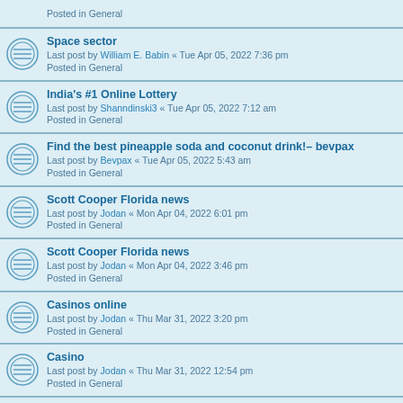Posted in General
Space sector
Last post by William E. Babin « Tue Apr 05, 2022 7:36 pm
Posted in General
India's #1 Online Lottery
Last post by Shanndinski3 « Tue Apr 05, 2022 7:12 am
Posted in General
Find the best pineapple soda and coconut drink!– bevpax
Last post by Bevpax « Tue Apr 05, 2022 5:43 am
Posted in General
Scott Cooper Florida news
Last post by Jodan « Mon Apr 04, 2022 6:01 pm
Posted in General
Scott Cooper Florida news
Last post by Jodan « Mon Apr 04, 2022 3:46 pm
Posted in General
Casinos online
Last post by Jodan « Thu Mar 31, 2022 3:20 pm
Posted in General
Casino
Last post by Jodan « Thu Mar 31, 2022 12:54 pm
Posted in General
Online casino
Last post by Elliot « Thu Mar 31, 2022 10:13 am
Posted in General